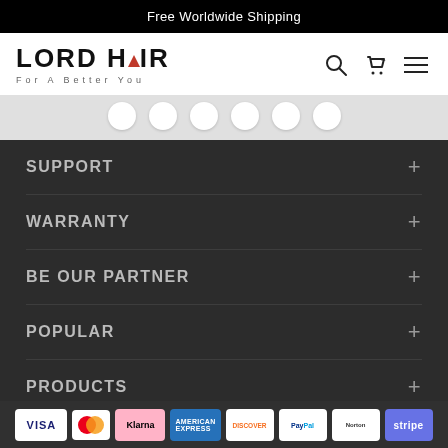Free Worldwide Shipping
[Figure (logo): Lordhair logo with red triangle replacing the A in HAIR, tagline: For A Better You]
SUPPORT +
WARRANTY +
BE OUR PARTNER +
POPULAR +
PRODUCTS +
VISA | Mastercard | Klarna | American Express | Discover | PayPal | Norton | Stripe